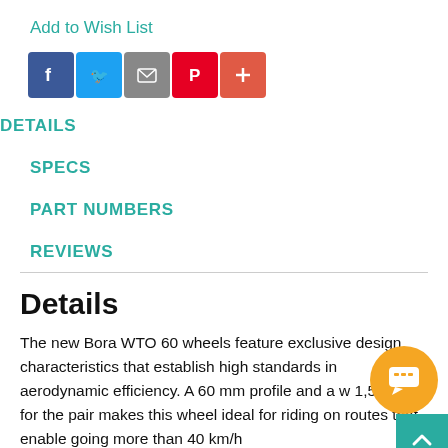Add to Wish List
[Figure (other): Social share icons: Facebook, Twitter, Email, Pinterest, and a plus/share button]
DETAILS
SPECS
PART NUMBERS
REVIEWS
Details
The new Bora WTO 60 wheels feature exclusive design characteristics that establish high standards in aerodynamic efficiency. A 60 mm profile and a w 1,547 g for the pair makes this wheel ideal for riding on routes that enable going more than 40 km/h